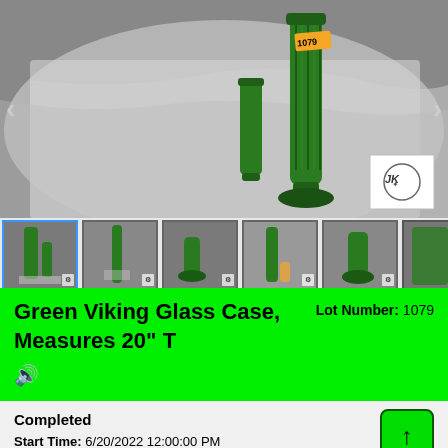[Figure (photo): Main auction photo showing two green Viking glass vases on a white draped background with lot number tag 1079 and an auction house watermark logo]
[Figure (photo): Thumbnail strip showing 6 thumbnail images of the green Viking glass pieces from various angles]
Green Viking Glass Case, Measures 20" T
Lot Number: 1079
Completed
Start Time: 6/20/2022 12:00:00 PM
End Time: 6/20/2022 11:00:55 PM